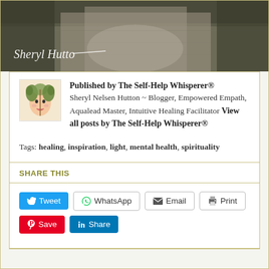[Figure (photo): Dirt/gravel road path through nature with a handwritten signature overlay reading 'Sheryl Hutton' or similar cursive signature in white]
Published by The Self-Help Whisperer® Sheryl Nelsen Hutton ~ Blogger, Empowered Empath, Aqualead Master, Intuitive Healing Facilitator View all posts by The Self-Help Whisperer®
Tags: healing, inspiration, light, mental health, spirituality
SHARE THIS
Tweet  WhatsApp  Email  Print  Save  Share